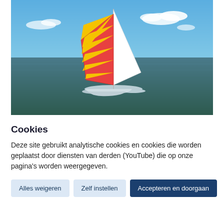[Figure (photo): Aerial photo of a catamaran sailboat with colorful red and yellow spinnaker sail on open water under blue sky with clouds.]
Cookies
Deze site gebruikt analytische cookies en cookies die worden geplaatst door diensten van derden (YouTube) die op onze pagina's worden weergegeven.